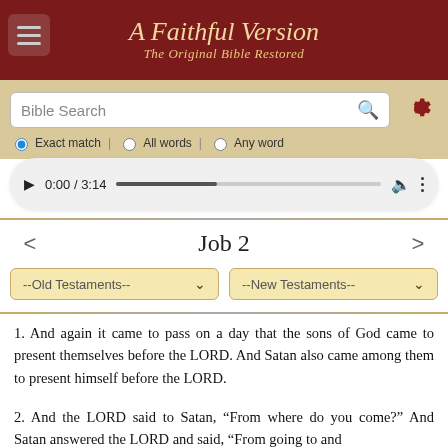A Faithful Version — The Original Bible Restored
[Figure (screenshot): Bible search bar with 'Bible Search' placeholder, search icon, and radio buttons: Exact match (selected), All words, Any word]
[Figure (screenshot): Audio player showing 0:00 / 3:14 with play button, progress bar, volume icon and menu dots]
Job 2
[Figure (screenshot): Two dropdowns: --Old Testaments-- and --New Testaments--]
1. And again it came to pass on a day that the sons of God came to present themselves before the LORD. And Satan also came among them to present himself before the LORD.
2. And the LORD said to Satan, “From where do you come?” And Satan answered the LORD and said, “From going to and